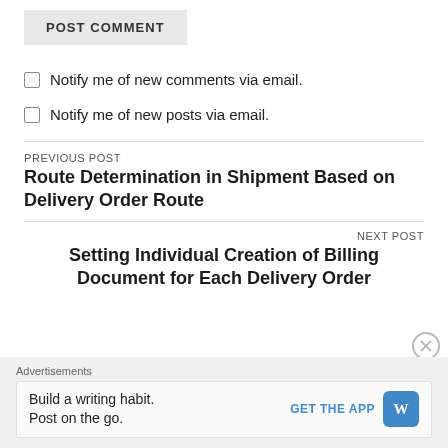POST COMMENT
Notify me of new comments via email.
Notify me of new posts via email.
PREVIOUS POST
Route Determination in Shipment Based on Delivery Order Route
NEXT POST
Setting Individual Creation of Billing Document for Each Delivery Order
Advertisements
Build a writing habit. Post on the go. GET THE APP